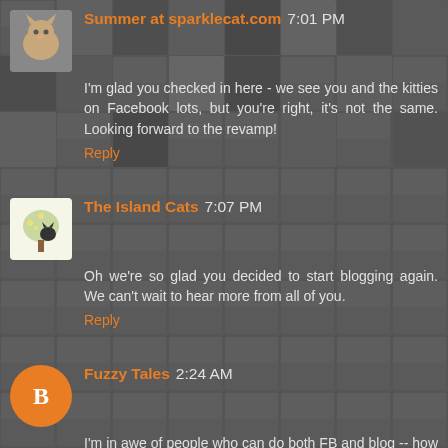Summer at sparklecat.com 7:01 PM
I'm glad you checked in here - we see you and the kitties on Facebook lots, but you're right, it's not the same. Looking forward to the revamp!
Reply
The Island Cats 7:07 PM
Oh we're so glad you decided to start blogging again. We can't wait to hear more from all of you.
Reply
Fuzzy Tales 2:24 AM
I'm in awe of people who can do both FB and blog -- how the heck does anyone have the time? I don't miss blogging for the boys, because it was all becoming "same old, same old", but I do have a personal blog that I enjoy posting on. It lets me be *me*, for the most part (my mom reads it, no further explanation needed--ha). Anyway, I'll look forward to